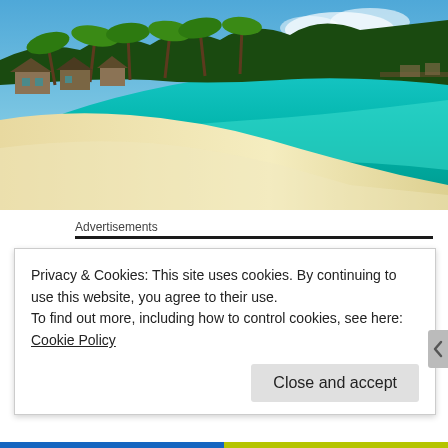[Figure (photo): Tropical beach scene with turquoise water, white sand beach, palm trees, and thatched bungalows]
Advertisements
Privacy & Cookies: This site uses cookies. By continuing to use this website, you agree to their use.
To find out more, including how to control cookies, see here: Cookie Policy
Close and accept